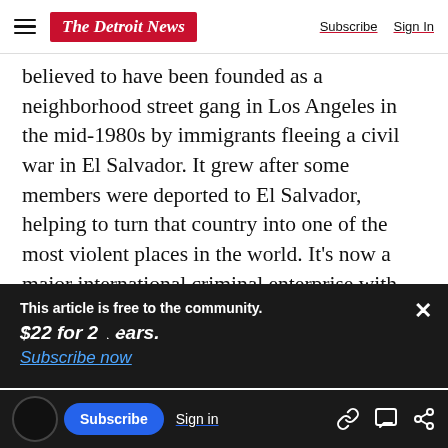The Detroit News — Subscribe | Sign In
believed to have been founded as a neighborhood street gang in Los Angeles in the mid-1980s by immigrants fleeing a civil war in El Salvador. It grew after some members were deported to El Salvador, helping to turn that country into one of the most violent places in the world. It's now a major international criminal enterprise with tens of thousands of members in several Central American countries and many U.S. states.
This article is free to the community.
$22 for 2 Years.
Subscribe now